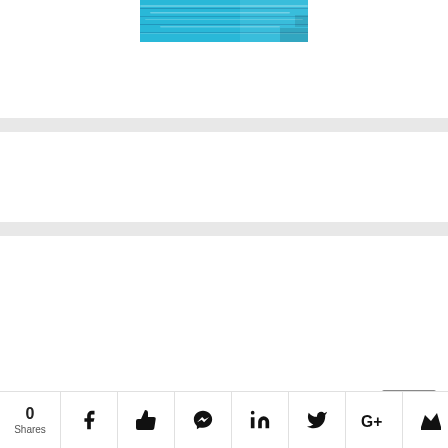[Figure (photo): A swimming pool with blue water showing lane lines, viewed from above]
[Figure (screenshot): Social share bar at the bottom showing 0 Shares, Facebook, Like/Thumbs up, Messenger, LinkedIn, Twitter, Google+, and a crown icon, with a gray tooltip box above]
0 Shares